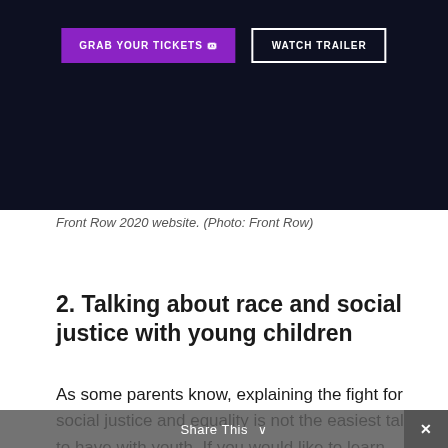[Figure (screenshot): Dark-themed website banner with two buttons: 'GRAB YOUR TICKETS' (purple background) and 'WATCH TRAILER' (white border, transparent background) on a dark navy background.]
Front Row 2020 website. (Photo: Front Row)
2. Talking about race and social justice with young children
As some parents know, explaining the fight for social justice and equality is not the easiest talk to have with youth. If you would like to learn strategies for